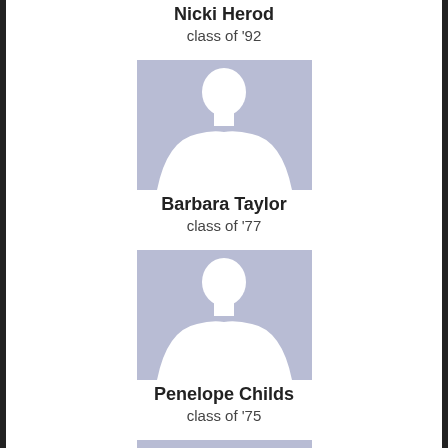Nicki Herod
class of '92
[Figure (illustration): Female silhouette placeholder avatar image]
Barbara Taylor
class of '77
[Figure (illustration): Female silhouette placeholder avatar image]
Penelope Childs
class of '75
[Figure (illustration): Female silhouette placeholder avatar image]
Cheryl Sundown
class of '62